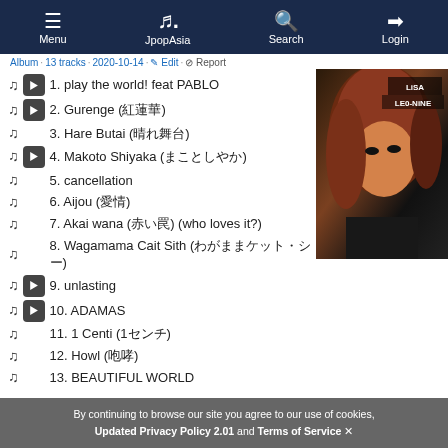Menu | JpopAsia | Search | Login
Album · 13 tracks · 2020-10-14 · Edit · Report
1. play the world! feat PABLO
2. Gurenge (紅蓮華)
3. Hare Butai (晴れ舞台)
4. Makoto Shiyaka (まことしやか)
5. cancellation
6. Aijou (愛情)
7. Akai wana (赤い罠) (who loves it?)
8. Wagamama Cait Sith (わがままケット・シー)
9. unlasting
10. ADAMAS
11. 1 Centi (1センチ)
12. Howl (咆哮)
13. BEAUTIFUL WORLD
[Figure (photo): Album cover for LiSA LEO-NiNE showing a woman with reddish-brown hair against dark background]
By continuing to browse our site you agree to our use of cookies, Updated Privacy Policy 2.01 and Terms of Service ✕